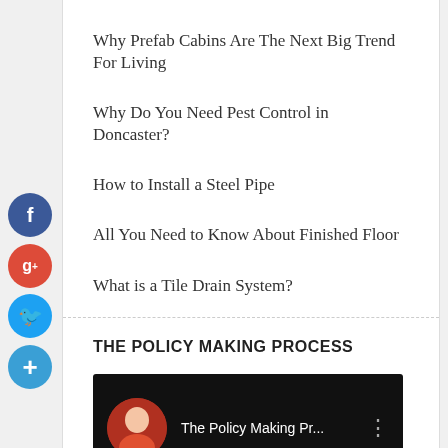Why Prefab Cabins Are The Next Big Trend For Living
Why Do You Need Pest Control in Doncaster?
How to Install a Steel Pipe
All You Need to Know About Finished Floor
What is a Tile Drain System?
THE POLICY MAKING PROCESS
[Figure (screenshot): YouTube video thumbnail showing 'The Policy Making Pr...' with a woman avatar and dark background]